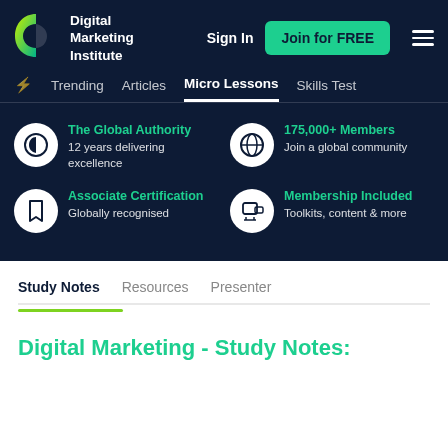[Figure (logo): Digital Marketing Institute logo — green circular D shape with gradient]
Digital Marketing Institute  Sign In  Join for FREE
Trending  Articles  Micro Lessons  Skills Test
The Global Authority
12 years delivering excellence
175,000+ Members
Join a global community
Associate Certification
Globally recognised
Membership Included
Toolkits, content & more
Study Notes  Resources  Presenter
Digital Marketing - Study Notes: